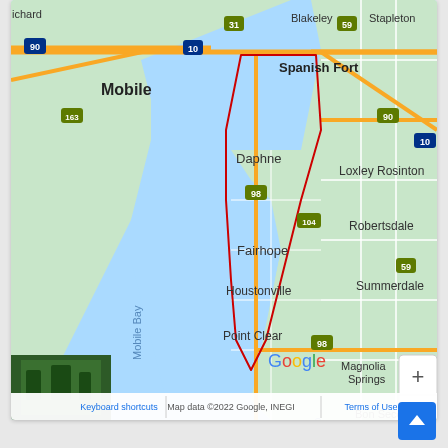[Figure (map): Google Maps screenshot showing the Mobile Bay area of Alabama, including Mobile, Spanish Fort, Daphne, Fairhope, Houstonville, Point Clear, Loxley, Rosinton, Robertsdale, Summerdale, Magnolia Springs, Bon Secour. A red outlined polygon highlights an area around Daphne/Fairhope. Roads including routes 10, 31, 59, 90, 98, 104, 163 are visible. Map data ©2022 Google, INEGI. Zoom controls (+/-) visible. Keyboard shortcuts link and Terms of Use visible at bottom.]